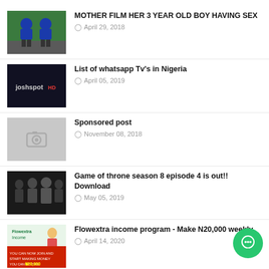MOTHER FILM HER 3 YEAR OLD BOY HAVING SEX
April 29, 2018
List of whatsapp Tv's in Nigeria
April 05, 2019
Sponsored post
November 08, 2018
Game of throne season 8 episode 4 is out!! Download
May 05, 2019
Flowextra income program - Make N20,000 weekly
April 14, 2020